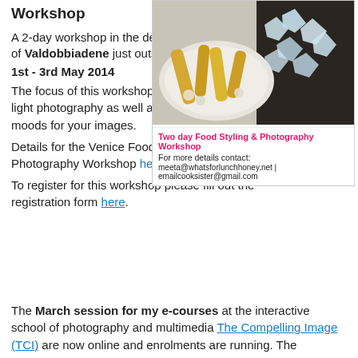Workshop
A 2-day workshop in the delightful prosecco region of Valdobbiadene just outside of Venice, Italy.
1st - 3rd May 2014
[Figure (photo): Two day Food Styling & Photography Workshop promotional image showing pasta and food items, with contact details: meeta@whatsforlunchhoney.net | emailcooksister@gmail.com]
The focus of this workshop is on natural and low-light photography as well as styling and creating moods for your images.
Details for the Venice Food Styling and Photography Workshop here.
To register for this workshop please fill out the registration form here.
The March session for my e-courses at the interactive school of photography and multimedia The Compelling Image (TCI) are now online and enrolments are running. The...